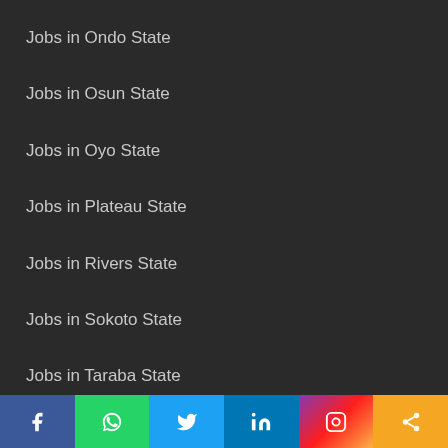Jobs in Ondo State
Jobs in Osun State
Jobs in Oyo State
Jobs in Plateau State
Jobs in Rivers State
Jobs in Sokoto State
Jobs in Taraba State
Jobs in Yobe State
Jobs in Zamfara State
[Figure (infographic): Social media sharing bar with icons: Facebook (blue), WhatsApp (green), Twitter (light blue), LinkedIn (dark blue), Instagram (gradient purple-red-orange), Share (orange)]